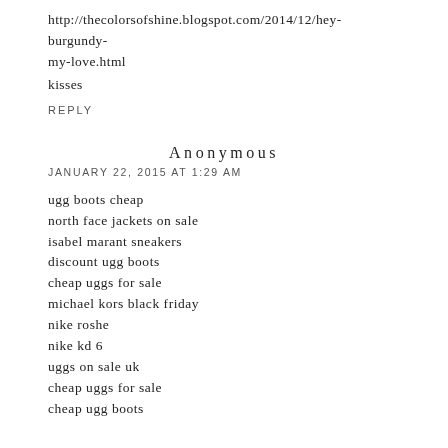http://thecolorsofshine.blogspot.com/2014/12/hey-burgundy-my-love.html
kisses
REPLY
ANONYMOUS
JANUARY 22, 2015 AT 1:29 AM
ugg boots cheap
north face jackets on sale
isabel marant sneakers
discount ugg boots
cheap uggs for sale
michael kors black friday
nike roshe
nike kd 6
uggs on sale uk
cheap uggs for sale
cheap ugg boots